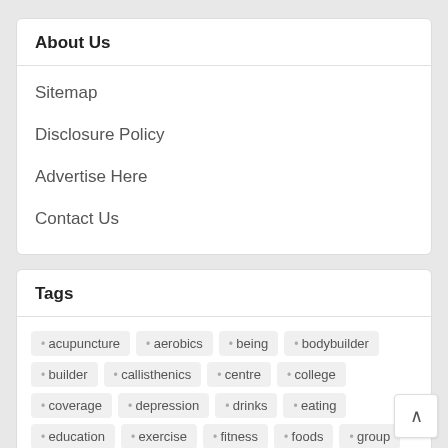About Us
Sitemap
Disclosure Policy
Advertise Here
Contact Us
Tags
acupuncture
aerobics
being
bodybuilder
builder
callisthenics
centre
college
coverage
depression
drinks
eating
education
exercise
fitness
foods
group
health
healthcare
healthy
heart
information
insurance
journ…